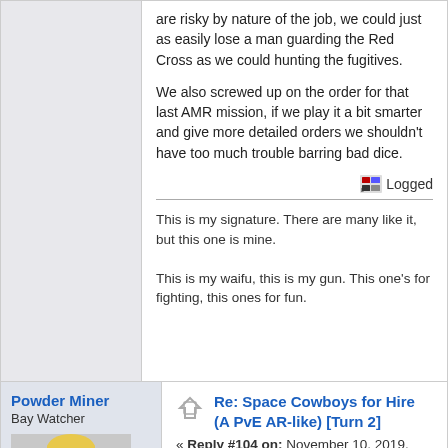are risky by nature of the job, we could just as easily lose a man guarding the Red Cross as we could hunting the fugitives.
We also screwed up on the order for that last AMR mission, if we play it a bit smarter and give more detailed orders we shouldn't have too much trouble barring bad dice.
Logged
This is my signature. There are many like it, but this one is mine.
This is my waifu, this is my gun. This one's for fighting, this ones for fun.
Powder Miner
Bay Watcher
Re: Space Cowboys for Hire (A PvE AR-like) [Turn 2]
« Reply #104 on: November 10, 2019, 02:06:38 am »